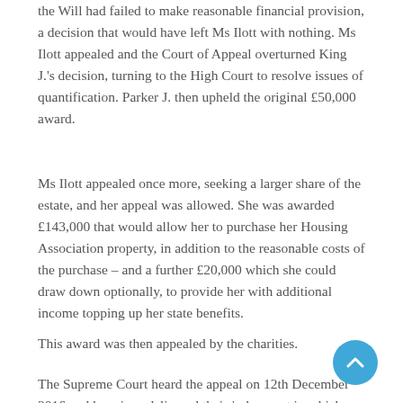the Will had failed to make reasonable financial provision, a decision that would have left Ms Ilott with nothing. Ms Ilott appealed and the Court of Appeal overturned King J.'s decision, turning to the High Court to resolve issues of quantification. Parker J. then upheld the original £50,000 award.
Ms Ilott appealed once more, seeking a larger share of the estate, and her appeal was allowed. She was awarded £143,000 that would allow her to purchase her Housing Association property, in addition to the reasonable costs of the purchase – and a further £20,000 which she could draw down optionally, to provide her with additional income topping up her state benefits.
This award was then appealed by the charities.
The Supreme Court heard the appeal on 12th December 2016 and has since delivered their judgement in which